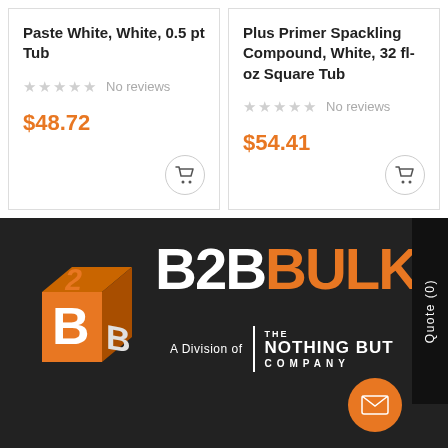Paste White, White, 0.5 pt Tub
No reviews
$48.72
Plus Primer Spackling Compound, White, 32 fl-oz Square Tub
No reviews
$54.41
[Figure (logo): B2BBULK logo with box icon and 'A Division of THE NOTHING BUT COMPANY' tagline on dark background]